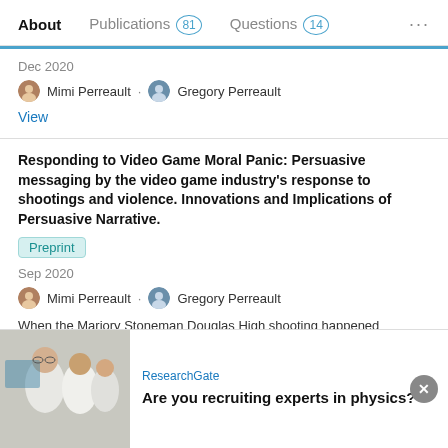About  Publications 81  Questions 14  ...
Dec 2020
Mimi Perreault · Gregory Perreault
View
Responding to Video Game Moral Panic: Persuasive messaging by the video game industry's response to shootings and violence. Innovations and Implications of Persuasive Narrative.
Preprint
Sep 2020
Mimi Perreault · Gregory Perreault
When the Marjory Stoneman Douglas High shooting happened
[Figure (screenshot): Advertisement banner for ResearchGate: photo of scientists, text 'ResearchGate' and 'Are you recruiting experts in physics?', with a close button.]